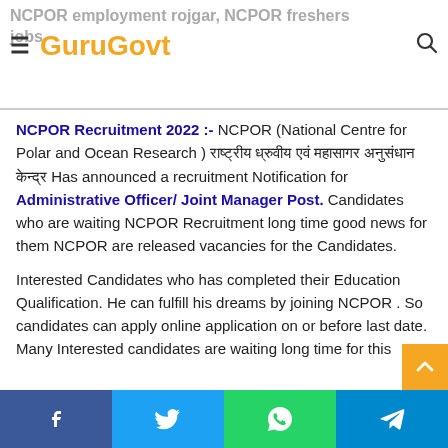NCPOR employment rojgar, NCPOR freshers jobs. — GuruGovt
NCPOR Recruitment 2022 :- NCPOR (National Centre for Polar and Ocean Research ) [Hindi text] Has announced a recruitment Notification for Administrative Officer/ Joint Manager Post. Candidates who are waiting NCPOR Recruitment long time good news for them NCPOR are released vacancies for the Candidates.
Interested Candidates who has completed their Education Qualification. He can fulfill his dreams by joining NCPOR . So candidates can apply online application on or before last date. Many Interested candidates are waiting long time for this advertisement for join NCPOR . This is the golden chance f... join [highlighted] ... this Advertisement ... of S...